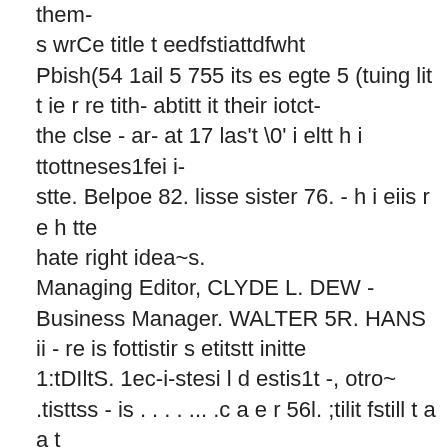them-
s wrCe title t eedfstiattdfwht
Pbish(54 1ail 5 755 its es egte 5 (tuing lit t ie r re tith- abtitt it their iotct-
the clse - ar- at 17 las't \0' i eltt h i ttottneses1fei i-
stte. Belpoe 82. lisse sister 76. - h i eiis r e h tte
hate right idea~s.
Managing Editor, CLYDE L. DEW -
Business Manager. WALTER 5R. HANS ii - re is fottistir s etitstt initte
1:tDIltS. 1ec-i-stesi l d estis1t -, otro~
.tisttss - is . . . . ... .c a e r 56l. ;tilit fstill t a a t